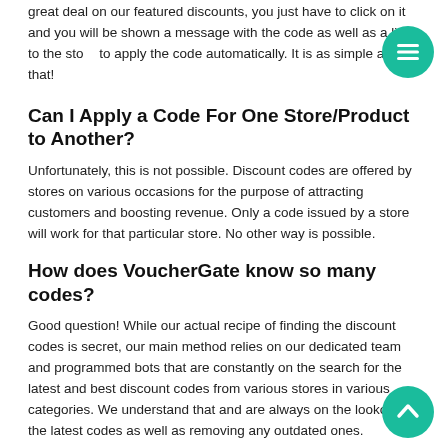great deal on our featured discounts, you just have to click on it and you will be shown a message with the code as well as a link to the store. You can either copy the code or go to the store to apply the code automatically. It is as simple as that!
Can I Apply a Code For One Store/Product to Another?
Unfortunately, this is not possible. Discount codes are offered by stores on various occasions for the purpose of attracting customers and boosting revenue. Only a code issued by a store will work for that particular store. No other way is possible.
How does VoucherGate know so many codes?
Good question! While our actual recipe of finding the discount codes is secret, our main method relies on our dedicated team and programmed bots that are constantly on the search for the latest and best discount codes from various stores in various categories. We understand that and are always on the lookout for the latest codes as well as removing any outdated ones.
Are the Stores Trusted?
While we have carefully curated a wide list of stores for you in each category and classified each into sub-categories, we do not bear responsibility for any quality assurance on these sites as our main aim is to provide you with discounts. We have